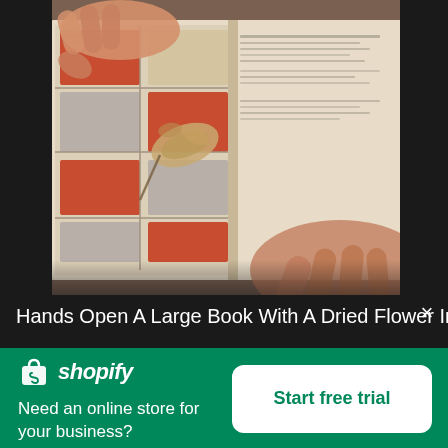[Figure (photo): Hands opening a large book with dried flowers pressed between colorful illustrated pages, viewed from above on a wooden surface]
Hands Open A Large Book With A Dried Flower In The
[Figure (logo): Shopify logo — shopping bag icon with 'shopify' in italic white text on green background]
Need an online store for your business?
Start free trial